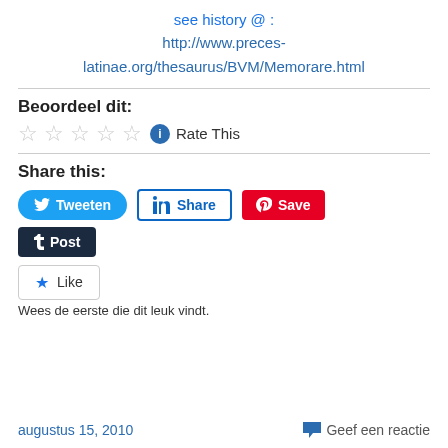see history @ : http://www.preces-latinae.org/thesaurus/BVM/Memorare.html
Beoordeel dit:
Rate This
Share this:
[Figure (other): Social share buttons: Tweeten (Twitter), Share (LinkedIn), Save (Pinterest), Post (Tumblr)]
[Figure (other): Like button widget]
Wees de eerste die dit leuk vindt.
augustus 15, 2010   Geef een reactie